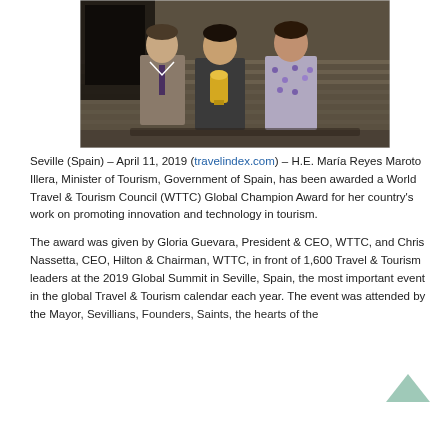[Figure (photo): Three people standing together at an indoor venue, one of them holding an award trophy. The setting appears to be a conference hall or auditorium.]
Seville (Spain) – April 11, 2019 (travelindex.com) – H.E. María Reyes Maroto Illera, Minister of Tourism, Government of Spain, has been awarded a World Travel & Tourism Council (WTTC) Global Champion Award for her country's work on promoting innovation and technology in tourism.
The award was given by Gloria Guevara, President & CEO, WTTC, and Chris Nassetta, CEO, Hilton & Chairman, WTTC, in front of 1,600 Travel & Tourism leaders at the 2019 Global Summit in Seville, Spain, the most important event in the global Travel & Tourism calendar each year. The event was attended by the Mayor, Sevillians, Founders, Saints, the hearts of the